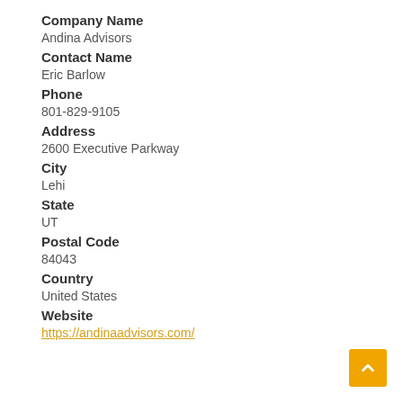Company Name
Andina Advisors
Contact Name
Eric Barlow
Phone
801-829-9105
Address
2600 Executive Parkway
City
Lehi
State
UT
Postal Code
84043
Country
United States
Website
https://andinaadvisors.com/